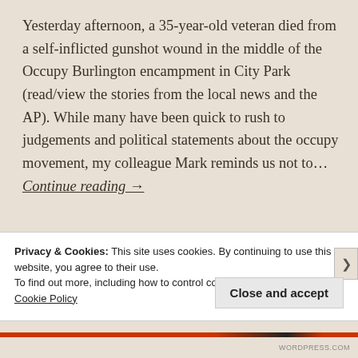Yesterday afternoon, a 35-year-old veteran died from a self-inflicted gunshot wound in the middle of the Occupy Burlington encampment in City Park (read/view the stories from the local news and the AP). While many have been quick to rush to judgements and political statements about the occupy movement, my colleague Mark reminds us not to… Continue reading →
Privacy & Cookies: This site uses cookies. By continuing to use this website, you agree to their use.
To find out more, including how to control cookies, see here:
Cookie Policy
Close and accept